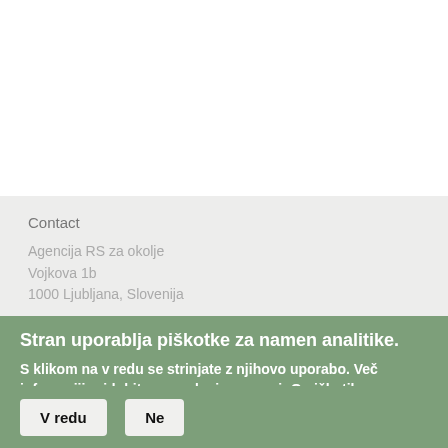Contact
Agencija RS za okolje
Vojkova 1b
1000 Ljubljana, Slovenija
Stran uporablja piškotke za namen analitike.
S klikom na v redu se strinjate z njihovo uporabo. Več infomaciji pridobite na podani povezavi: O piškotih
V redu    Ne